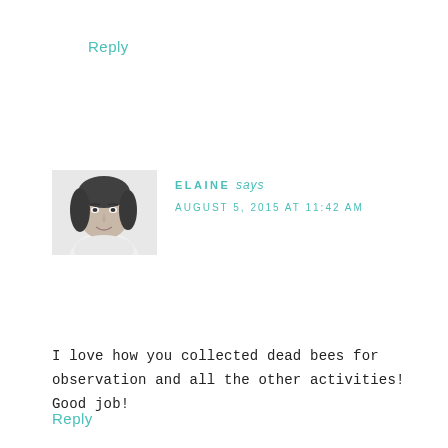Reply
[Figure (photo): Black and white portrait photo of a woman named Elaine, smiling, with dark hair]
ELAINE says
AUGUST 5, 2015 AT 11:42 AM
I love how you collected dead bees for observation and all the other activities! Good job!
Reply